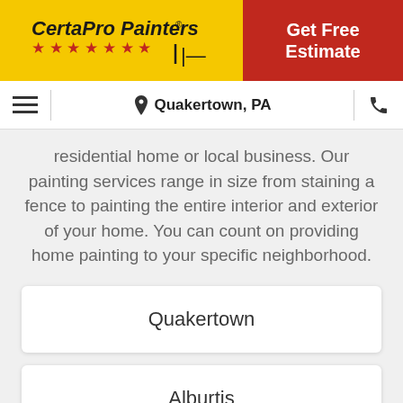[Figure (logo): CertaPro Painters logo with yellow background and star rating row]
Get Free Estimate
☰  📍 Quakertown, PA  📞
residential home or local business. Our painting services range in size from staining a fence to painting the entire interior and exterior of your home. You can count on providing home painting to your specific neighborhood.
Quakertown
Alburtis